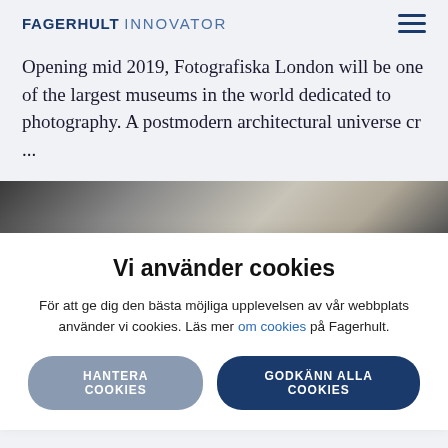FAGERHULT INNOVATOR
Opening mid 2019, Fotografiska London will be one of the largest museums in the world dedicated to photography. A postmodern architectural universe cr ...
[Figure (photo): Partial view of a photograph, dark and light tones, partially obscured by cookie overlay]
Vi använder cookies
För att ge dig den bästa möjliga upplevelsen av vår webbplats använder vi cookies. Läs mer om cookies på Fagerhult.
HANTERA COOKIES   GODKÄNN ALLA COOKIES